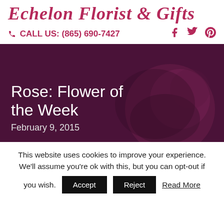Echelon Florist & Gifts
CALL US: (865) 690-7427
[Figure (photo): Dark purple/maroon background hero image with a blurred rose, containing heading text 'Rose: Flower of the Week' and date 'February 9, 2015']
Rose: Flower of the Week
February 9, 2015
This website uses cookies to improve your experience. We'll assume you're ok with this, but you can opt-out if you wish.
Accept  Reject  Read More